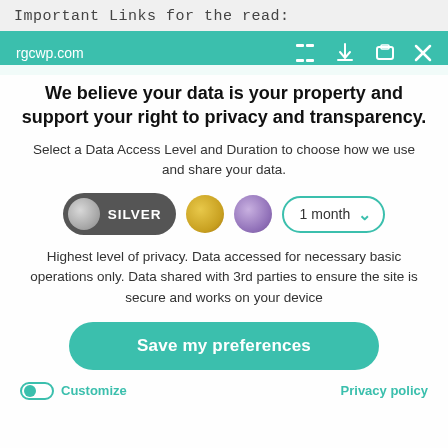Important Links for the read:
rgcwp.com
We believe your data is your property and support your right to privacy and transparency.
Select a Data Access Level and Duration to choose how we use and share your data.
[Figure (infographic): Privacy level selector with Silver toggle, gold circle, purple circle, and 1 month dropdown]
Highest level of privacy. Data accessed for necessary basic operations only. Data shared with 3rd parties to ensure the site is secure and works on your device
Save my preferences
Customize
Privacy policy